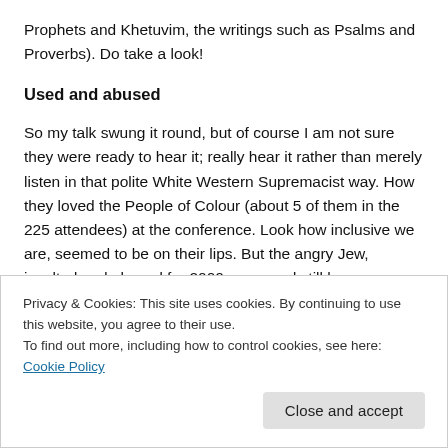Prophets and Khetuvim, the writings such as Psalms and Proverbs). Do take a look!
Used and abused
So my talk swung it round, but of course I am not sure they were ready to hear it; really hear it rather than merely listen in that polite White Western Supremacist way. How they loved the People of Colour (about 5 of them in the 225 attendees) at the conference. Look how inclusive we are, seemed to be on their lips. But the angry Jew, insulted and abused for 2000 years and still here was a definite no
Privacy & Cookies: This site uses cookies. By continuing to use this website, you agree to their use.
To find out more, including how to control cookies, see here: Cookie Policy